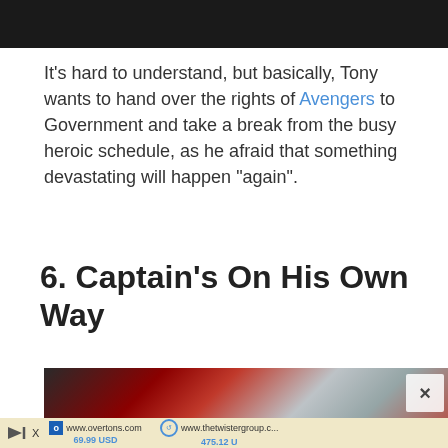[Figure (photo): Dark image at top of page, appears to be a movie scene]
It's hard to understand, but basically, Tony wants to hand over the rights of Avengers to Government and take a break from the busy heroic schedule, as he afraid that something devastating will happen “again”.
6. Captain’s On His Own Way
[Figure (photo): Close-up image showing colored stripes — appears to be Captain America shield or similar object with red, black and silver/blue colors]
[Figure (screenshot): Advertisement overlay showing two product listings: www.overtons.com at 69.99 USD with See offer button, and www.thetwistergroup.c... at 475.12 U with See of button, with a close X button]